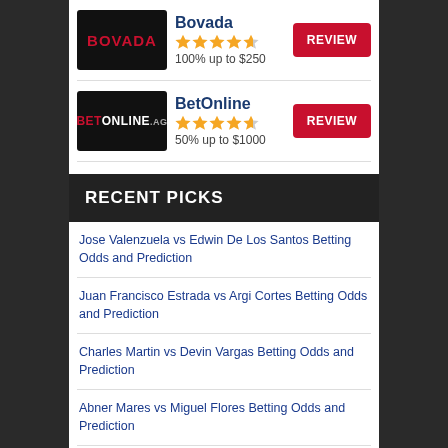[Figure (logo): Bovada logo - black background with red BOVADA text]
Bovada
★★★★½
100% up to $250
REVIEW
[Figure (logo): BetOnline.ag logo - black background with red BET and white ONLINE.AG text]
BetOnline
★★★★½
50% up to $1000
REVIEW
RECENT PICKS
Jose Valenzuela vs Edwin De Los Santos Betting Odds and Prediction
Juan Francisco Estrada vs Argi Cortes Betting Odds and Prediction
Charles Martin vs Devin Vargas Betting Odds and Prediction
Abner Mares vs Miguel Flores Betting Odds and Prediction